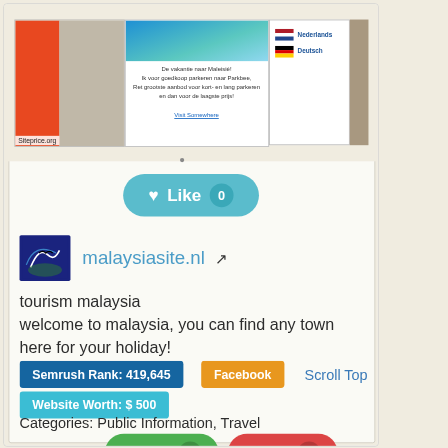[Figure (screenshot): Website screenshot of malaysiasite.nl showing a thumbnail with red column, site content area with Malaysia imagery, Dutch/German flag language options]
[Figure (other): Like button — teal rounded button with heart icon, text 'Like', and count badge '0']
[Figure (other): Website favicon/logo for malaysiasite.nl showing a bird silhouette over landscape]
malaysiasite.nl
tourism malaysia
welcome to malaysia, you can find any town here for your holiday!
Semrush Rank: 419,645
Facebook
Scroll Top
Website Worth: $ 500
Categories: Public Information, Travel
Is it similar?
Yes 0
No 0